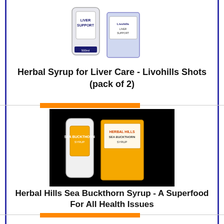[Figure (photo): Product photo of Herbal Hills Livohills liver support syrup bottle and box]
Herbal Syrup for Liver Care - Livohills Shots (pack of 2)
[Figure (photo): Product photo of Herbal Hills Sea Buckthorn Syrup bottle and box on black background]
Herbal Hills Sea Buckthorn Syrup - A Superfood For All Health Issues
[Figure (photo): Product photo of Herbal Drops Stonhills kidney support bottle]